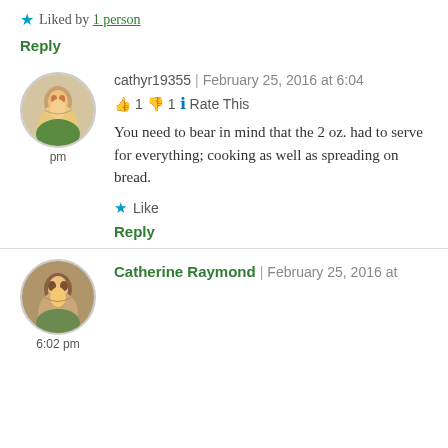★ Liked by 1 person
Reply
cathyr19355 | February 25, 2016 at 6:04 pm
👍 1 👎 1 ℹ Rate This
You need to bear in mind that the 2 oz. had to serve for everything; cooking as well as spreading on bread.
★ Like
Reply
Catherine Raymond | February 25, 2016 at 6:02 pm